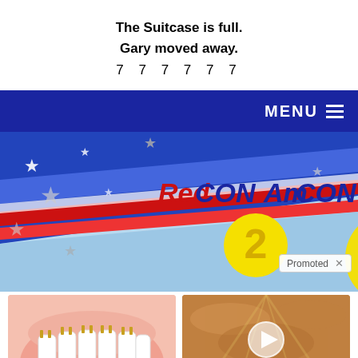The Suitcase is full.
Gary moved away.
7 7 7 7 7 7
MENU
[Figure (illustration): RedCON AmCON promotional banner with red, white, and blue stars-and-stripes design, featuring the number 2 in a yellow circle and a blue circle partially visible. A 'Promoted x' label appears in the lower right.]
[Figure (illustration): Illustration of dental implants with a pink gum arch and white teeth with gold implant posts.]
Here's What Same-Day Dental Implants Should Cost
17,038
[Figure (photo): Photo of sunlight breaking through clouds in a golden sky with a circular play button overlay.]
Everyone Who Believes In God Should Watch This. It Will Blow Your Mind
43,350